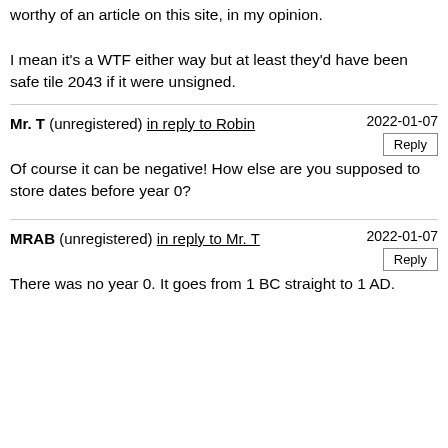worthy of an article on this site, in my opinion.

I mean it's a WTF either way but at least they'd have been safe tile 2043 if it were unsigned.
Mr. T (unregistered) in reply to Robin
2022-01-07
Reply
Of course it can be negative! How else are you supposed to store dates before year 0?
MRAB (unregistered) in reply to Mr. T
2022-01-07
Reply
There was no year 0. It goes from 1 BC straight to 1 AD.